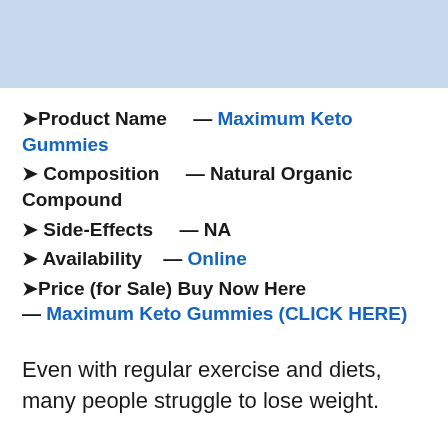[Figure (other): Light blue header banner at top of page]
➤Product Name — Maximum Keto Gummies
➤ Composition — Natural Organic Compound
➤ Side-Effects — NA
➤ Availability — Online
➤Price (for Sale) Buy Now Here — Maximum Keto Gummies (CLICK HERE)
Even with regular exercise and diets, many people struggle to lose weight.